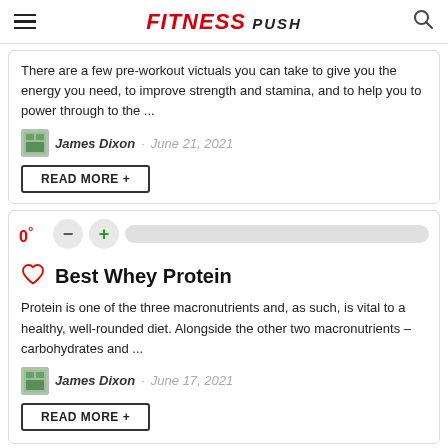FITNESS PUSH
There are a few pre-workout victuals you can take to give you the energy you need, to improve strength and stamina, and to help you to power through to the ...
James Dixon · June 21, 2021
READ MORE +
0°
Best Whey Protein
Protein is one of the three macronutrients and, as such, is vital to a healthy, well-rounded diet. Alongside the other two macronutrients – carbohydrates and ...
James Dixon · June 17, 2021
READ MORE +